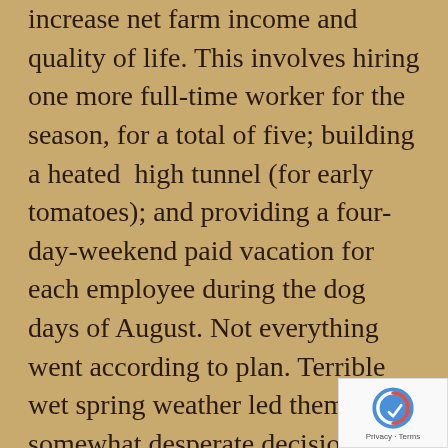increase net farm income and quality of life. This involves hiring one more full-time worker for the season, for a total of five; building a heated  high tunnel (for early tomatoes); and providing a four-day-weekend paid vacation for each employee during the dog days of August. Not everything went according to plan. Terrible wet spring weather led them to the somewhat desperate decision to also work a winter season too, to meet their income goal. This didn't meet their quality of life goal, as you can imagine! The original investor for the heated hoophouse fell through, but they were able to finance it themselves. Everyone benefitted enormously from the little August break. For 2018 they are going to focus on the most profitable crops (they dropped